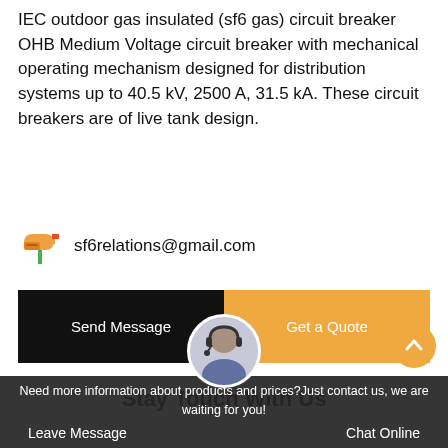IEC outdoor gas insulated (sf6 gas) circuit breaker OHB Medium Voltage circuit breaker with mechanical operating mechanism designed for distribution systems up to 40.5 kV, 2500 A, 31.5 kA. These circuit breakers are of live tank design.
sf6relations@gmail.com
Send Message
Get a Quote
Stay Touch With Us
Need more information about products and prices?Just contact us, we are waiting for you!
Leave Message
Chat Online